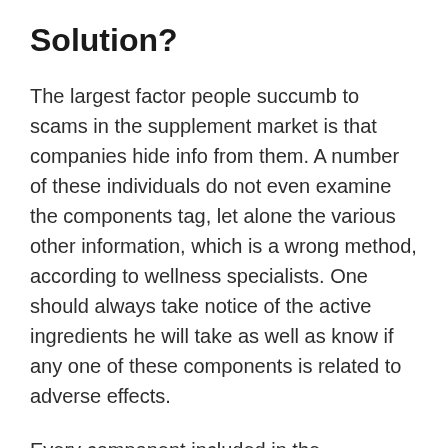Solution?
The largest factor people succumb to scams in the supplement market is that companies hide info from them. A number of these individuals do not even examine the components tag, let alone the various other information, which is a wrong method, according to wellness specialists. One should always take notice of the active ingredients he will take as well as know if any one of these components is related to adverse effects.
Every component included in the LeanBiome formula is selected after undergoing the research study information revealing its benefits. Using the initial dietary source can also aid obtain the